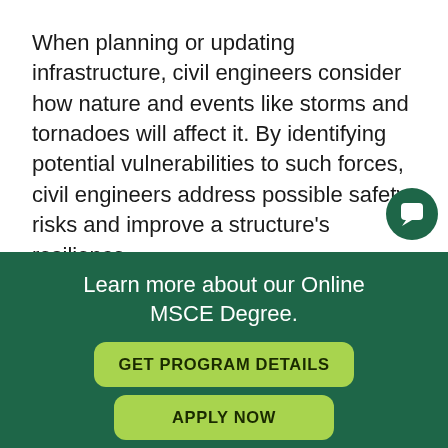When planning or updating infrastructure, civil engineers consider how nature and events like storms and tornadoes will affect it. By identifying potential vulnerabilities to such forces, civil engineers address possible safety risks and improve a structure's resilience.
In addition, civil engineers protect the infrastructure on which society depends. Through the monitoring
Learn more about our Online MSCE Degree.
GET PROGRAM DETAILS
APPLY NOW